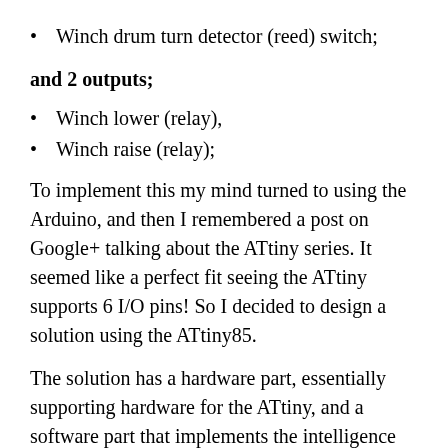Winch drum turn detector (reed) switch;
and 2 outputs;
Winch lower (relay),
Winch raise (relay);
To implement this my mind turned to using the Arduino, and then I remembered a post on Google+ talking about the ATtiny series. It seemed like a perfect fit seeing the ATtiny supports 6 I/O pins! So I decided to design a solution using the ATtiny85.
The solution has a hardware part, essentially supporting hardware for the ATtiny, and a software part that implements the intelligence around what to do with the inputs, and when to drive the outputs.